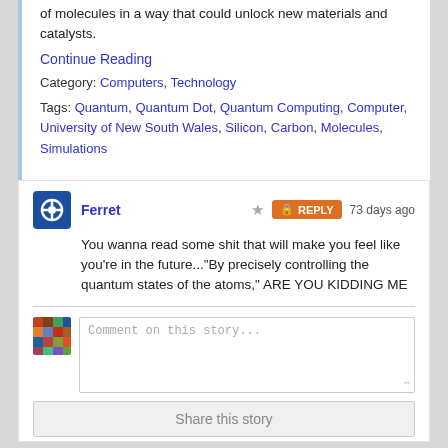of molecules in a way that could unlock new materials and catalysts.
Continue Reading
Category: Computers, Technology
Tags: Quantum, Quantum Dot, Quantum Computing, Computer, University of New South Wales, Silicon, Carbon, Molecules, Simulations
Ferret · ★ · REPLY · 73 days ago
You wanna read some shit that will make you feel like you're in the future..."By precisely controlling the quantum states of the atoms," ARE YOU KIDDING ME
Comment on this story...
Share this story
PS5 Pro and new Xbox Series X coming in 2023, according to TCL
by Chris Smith